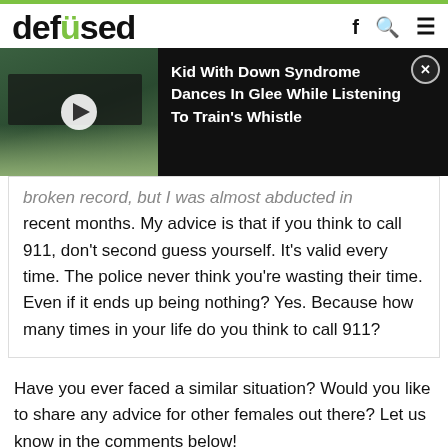defused
[Figure (screenshot): Video popup overlay showing a child near a train track with play button, titled 'Kid With Down Syndrome Dances In Glee While Listening To Train's Whistle']
broken record, but I was almost abducted in recent months. My advice is that if you think to call 911, don't second guess yourself. It's valid every time. The police never think you're wasting their time. Even if it ends up being nothing? Yes. Because how many times in your life do you think to call 911?
Have you ever faced a similar situation? Would you like to share any advice for other females out there? Let us know in the comments below!